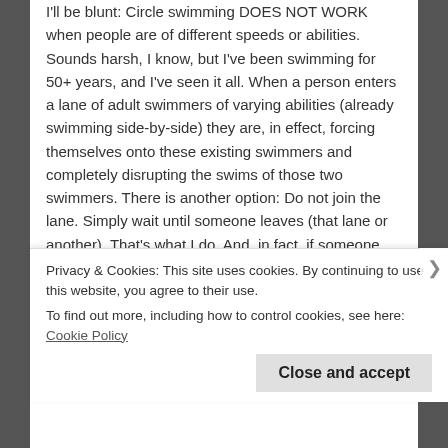I'll be blunt: Circle swimming DOES NOT WORK when people are of different speeds or abilities. Sounds harsh, I know, but I've been swimming for 50+ years, and I've seen it all. When a person enters a lane of adult swimmers of varying abilities (already swimming side-by-side) they are, in effect, forcing themselves onto these existing swimmers and completely disrupting the swims of those two swimmers. There is another option: Do not join the lane. Simply wait until someone leaves (that lane or another). That's what I do. And, in fact, if someone forces their way into my lane, I usually quit and leave because it's not worth the hassle. Of course, if you know the other two swimmers well AND you are all at roughly the same ability and speed, and/or there are many lanes to group different speeds, it is
Privacy & Cookies: This site uses cookies. By continuing to use this website, you agree to their use.
To find out more, including how to control cookies, see here: Cookie Policy